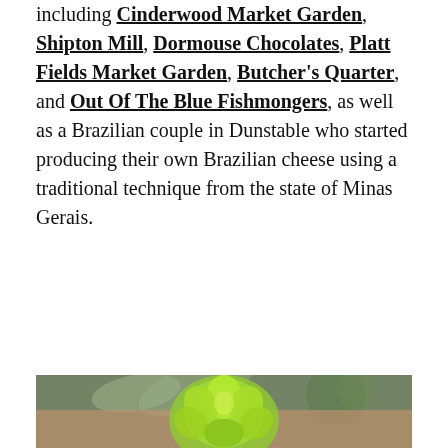including Cinderwood Market Garden, Shipton Mill, Dormouse Chocolates, Platt Fields Market Garden, Butcher's Quarter, and Out Of The Blue Fishmongers, as well as a Brazilian couple in Dunstable who started producing their own Brazilian cheese using a traditional technique from the state of Minas Gerais.
[Figure (photo): A hand holding a small bright green succulent plant, with eucalyptus leaves and other succulents visible in a blurred background.]